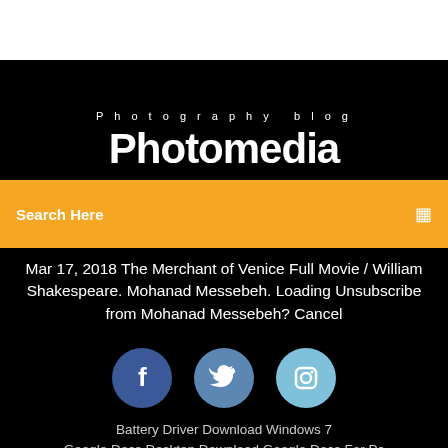Photography blog
Photomedia
Search Here
Mar 17, 2018 The Merchant of Venice Full Movie / William Shakespeare. Mohanad Messebeh. Loading Unsubscribe from Mohanad Messebeh? Cancel
[Figure (illustration): Three social media icon circles: Facebook (dark blue with f), Twitter (medium blue with bird), Instagram (light blue with camera icon)]
Battery Driver Download Windows 7
Google Docs Desktop Download Google Docs For Pc